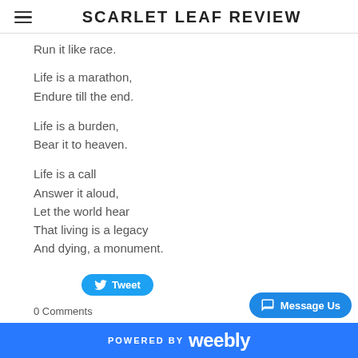SCARLET LEAF REVIEW
Run it like race.

Life is a marathon,
Endure till the end.

Life is a burden,
Bear it to heaven.

Life is a call
Answer it aloud,
Let the world hear
That living is a legacy
And dying, a monument.
Tweet
0 Comments
POWERED BY weebly